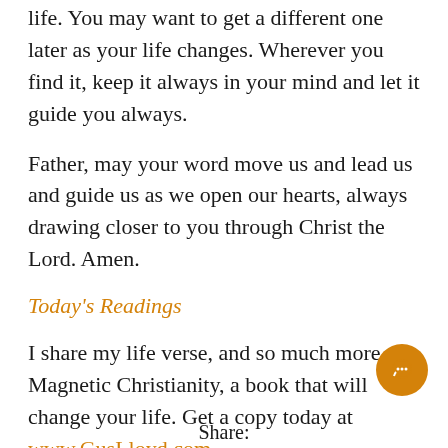life. You may want to get a different one later as your life changes. Wherever you find it, keep it always in your mind and let it guide you always.
Father, may your word move us and lead us and guide us as we open our hearts, always drawing closer to you through Christ the Lord. Amen.
Today's Readings
I share my life verse, and so much more, in Magnetic Christianity, a book that will change your life. Get a copy today at www.GusLloyd.com.
Share: